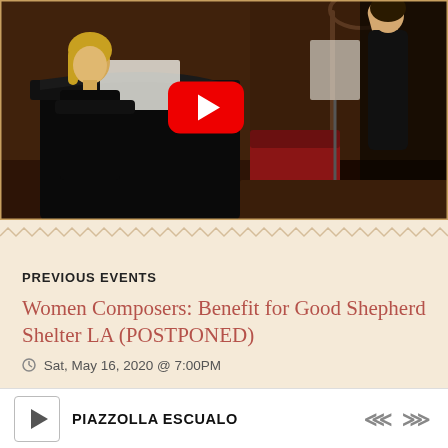[Figure (photo): YouTube video thumbnail showing a female pianist at a grand piano in a church or concert hall setting, with a red YouTube play button overlay. A person stands to the right. Church pews and arch visible in background.]
\\\\\\\\\\\\\\\\\\\\\\\\\\\\\\\\\\\\
PREVIOUS EVENTS
Women Composers: Benefit for Good Shepherd Shelter LA (POSTPONED)
Sat, May 16, 2020 @ 7:00PM
PIAZZOLLA ESCUALO
1118 Allen Ave., Pasadena